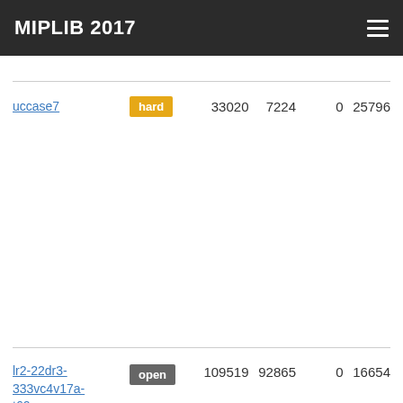MIPLIB 2017
| Name | Status | Col1 | Col2 | Col3 | Col4 |
| --- | --- | --- | --- | --- | --- |
| uccase7 | hard | 33020 | 7224 | 0 | 25796 |
| lr2-22dr3-333vc4v17a-t60 | open | 109519 | 92865 | 0 | 16654 |